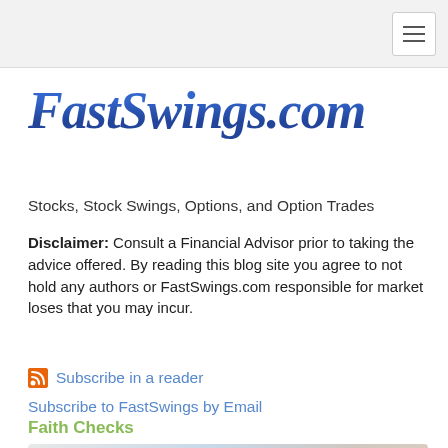FastSwings.com
Stocks, Stock Swings, Options, and Option Trades
Disclaimer: Consult a Financial Advisor prior to taking the advice offered. By reading this blog site you agree to not hold any authors or FastSwings.com responsible for market loses that you may incur.
Subscribe in a reader
Subscribe to FastSwings by Email
Faith Checks
[Figure (illustration): Faith Checks banner advertisement showing 'Faith Checks' logo on left, 'Share your faith with every check you write.' text in center, and 'CLICK NOW' call-to-action button with landscape background image on right.]